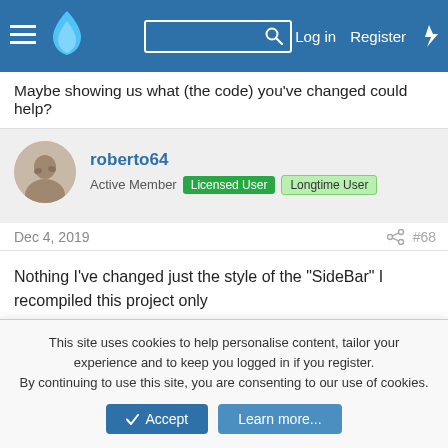Navigation bar with hamburger menu, logo, search, Log in, Register, and lightning bolt icon
Maybe showing us what (the code) you've changed could help?
roberto64
Active Member  Licensed User  Longtime User
Dec 4, 2019  #68
Nothing I've changed just the style of the "SideBar" I recompiled this project only
roberto64
Active Member  Licensed User  Longtime User
This site uses cookies to help personalise content, tailor your experience and to keep you logged in if you register.
By continuing to use this site, you are consenting to our use of cookies.
Accept  Learn more...